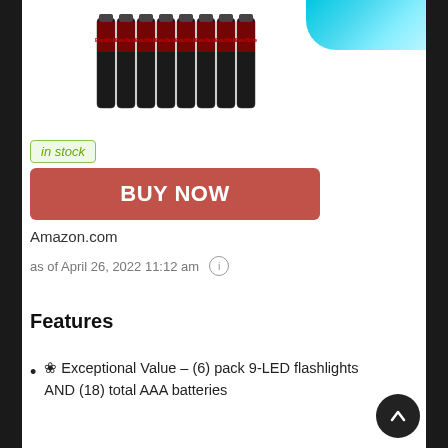[Figure (photo): Product photo showing a group of approximately 16 black AAA EverBrite batteries standing upright in a cluster, with a partial view of a cyan/blue flashlight in the top right corner.]
in stock
BUY NOW
Amazon.com
as of April 26, 2022 11:12 am ⓘ
Features
❀ Exceptional Value – (6) pack 9-LED flashlights AND (18) total AAA batteries